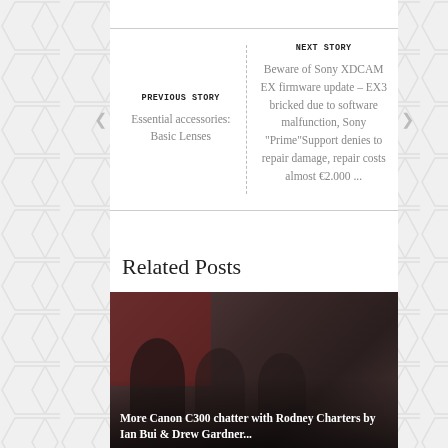PREVIOUS STORY
Essential accessories: Basic Lenses
NEXT STORY
Beware of Sony XDCAM EX firmware update – EX3 bricked due to software malfunction, Sony "Prime"Support denies to repair damage, repair costs almost €2.000 ...
Related Posts
[Figure (photo): Dark photo of people with text overlay: More Canon C300 chatter with Rodney Charters by Ian Bui & Drew Gardner]